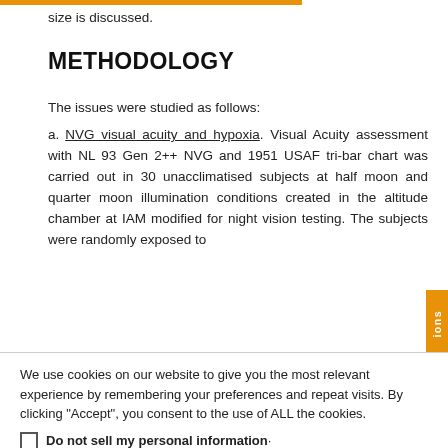size is discussed.
METHODOLOGY
The issues were studied as follows:
a. NVG visual acuity and hypoxia. Visual Acuity assessment with NL 93 Gen 2++ NVG and 1951 USAF tri-bar chart was carried out in 30 unacclimatised subjects at half moon and quarter moon illumination conditions created in the altitude chamber at IAM modified for night vision testing. The subjects were randomly exposed to
We use cookies on our website to give you the most relevant experience by remembering your preferences and repeat visits. By clicking "Accept", you consent to the use of ALL the cookies.
Do not sell my personal information
Cookie Settings
Accept